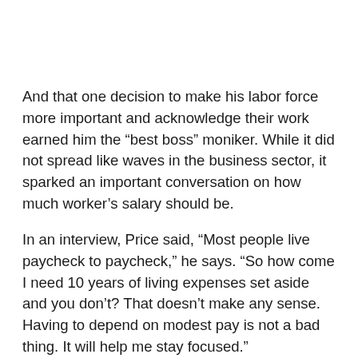And that one decision to make his labor force more important and acknowledge their work earned him the “best boss” moniker. While it did not spread like waves in the business sector, it sparked an important conversation on how much worker’s salary should be.
In an interview, Price said, “Most people live paycheck to paycheck,” he says. “So how come I need 10 years of living expenses set aside and you don’t? That doesn’t make any sense. Having to depend on modest pay is not a bad thing. It will help me stay focused.”
The Bottomline
These stories are not made to tell the narrative that with a bit